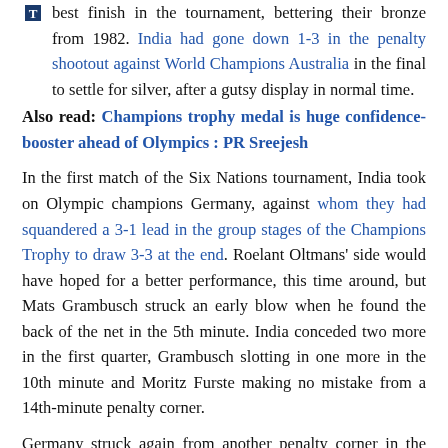best finish in the tournament, bettering their bronze from 1982. India had gone down 1-3 in the penalty shootout against World Champions Australia in the final to settle for silver, after a gutsy display in normal time.
Also read: Champions trophy medal is huge confidence-booster ahead of Olympics : PR Sreejesh
In the first match of the Six Nations tournament, India took on Olympic champions Germany, against whom they had squandered a 3-1 lead in the group stages of the Champions Trophy to draw 3-3 at the end. Roelant Oltmans' side would have hoped for a better performance, this time around, but Mats Grambusch struck an early blow when he found the back of the net in the 5th minute. India conceded two more in the first quarter, Grambusch slotting in one more in the 10th minute and Moritz Furste making no mistake from a 14th-minute penalty corner.
Germany struck again from another penalty corner in the 57th minute through Lukas Windfeder to finish the game on a high.
Also read: Sardar Singh and Rupinder Pal Singh return to the